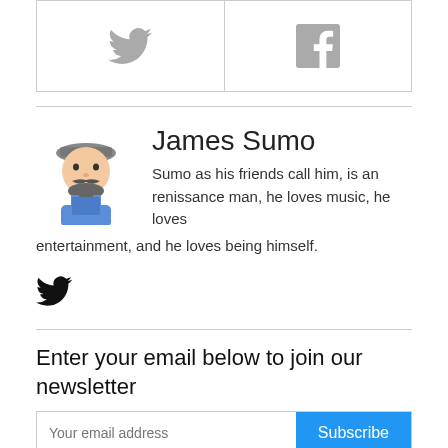[Figure (illustration): Two social media icon boxes side by side: Twitter bird icon on the left, Facebook 'f' icon on the right, both in light gray, bordered boxes]
James Sumo
[Figure (illustration): Cartoon avatar of James Sumo — a bearded man in a cap and overalls]
Sumo as his friends call him, is an renissance man, he loves music, he loves entertainment, and he loves being himself.
[Figure (illustration): Black Twitter bird icon]
Enter your email below to join our newsletter
Your email address